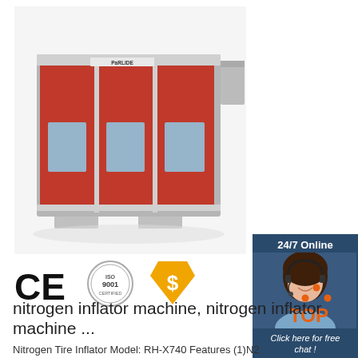[Figure (photo): Red industrial paint booth / spray booth cabinet with aluminum frame, three front panels with windows, and ventilation duct on the right side. PARLIDE brand logo visible on top.]
[Figure (infographic): 24/7 Online chat widget showing a woman with headset smiling, dark blue background, text 'Click here for free chat!' and an orange 'QUOTATION' button.]
[Figure (logo): Certification icons: CE mark, ISO 9001 circular badge, and orange dollar-sign shield badge.]
[Figure (logo): TOP logo with orange dots forming a triangle above bold 'TOP' text in orange.]
nitrogen inflator machine, nitrogen inflator machine ...
Nitrogen Tire Inflator Model: RH-X740 Features (1)N2